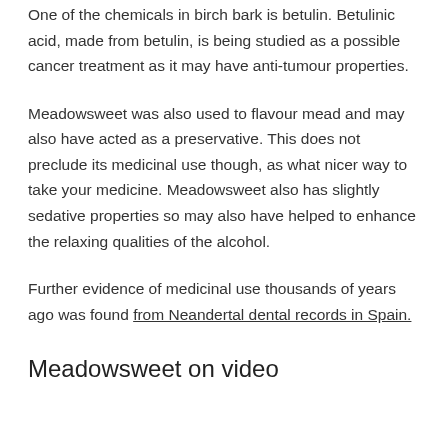One of the chemicals in birch bark is betulin. Betulinic acid, made from betulin, is being studied as a possible cancer treatment as it may have anti-tumour properties.
Meadowsweet was also used to flavour mead and may also have acted as a preservative. This does not preclude its medicinal use though, as what nicer way to take your medicine. Meadowsweet also has slightly sedative properties so may also have helped to enhance the relaxing qualities of the alcohol.
Further evidence of medicinal use thousands of years ago was found from Neandertal dental records in Spain.
Meadowsweet on video